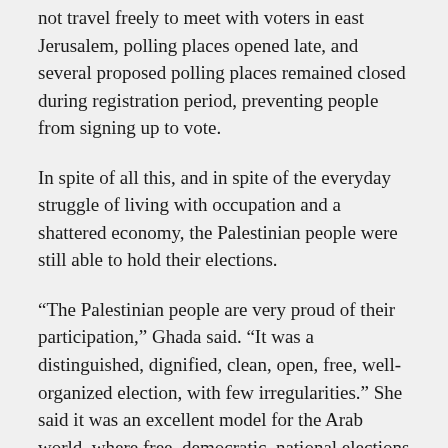not travel freely to meet with voters in east Jerusalem, polling places opened late, and several proposed polling places remained closed during registration period, preventing people from signing up to vote.
In spite of all this, and in spite of the everyday struggle of living with occupation and a shattered economy, the Palestinian people were still able to hold their elections.
“The Palestinian people are very proud of their participation,” Ghada said. “It was a distinguished, dignified, clean, open, free, well-organized election, with few irregularities.” She said it was an excellent model for the Arab world, where free, democratic, national elections are rare; in many Arab nations authority and power are inherited from one generation to the next.